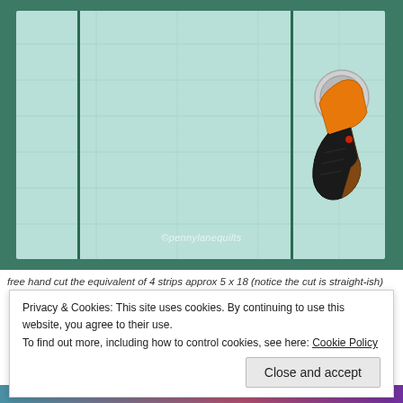[Figure (photo): Photo of light blue/mint fabric laid flat on a green cutting mat, with two vertical dark green cut lines visible. A yellow and black rotary cutter tool is placed on the right side of the fabric. Watermark reads ©pennylanequilts.]
free hand cut the equivalent of 4 strips approx 5 x 18 (notice the cut is straight-ish)
Privacy & Cookies: This site uses cookies. By continuing to use this website, you agree to their use.
To find out more, including how to control cookies, see here: Cookie Policy
Close and accept